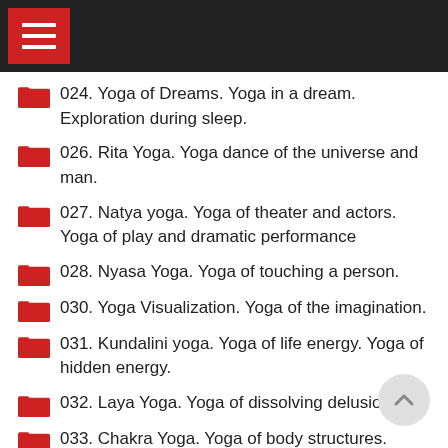024. Yoga of Dreams. Yoga in a dream. Exploration during sleep.
026. Rita Yoga. Yoga dance of the universe and man.
027. Natya yoga. Yoga of theater and actors. Yoga of play and dramatic performance
028. Nyasa Yoga. Yoga of touching a person.
030. Yoga Visualization. Yoga of the imagination.
031. Kundalini yoga. Yoga of life energy. Yoga of hidden energy.
032. Laya Yoga. Yoga of dissolving delusions.
033. Chakra Yoga. Yoga of body structures.
034. Kin yoga. Yoga of the continuation of the Kin. Yoga of mindfulness of ancestors. Yoga of ancestors.